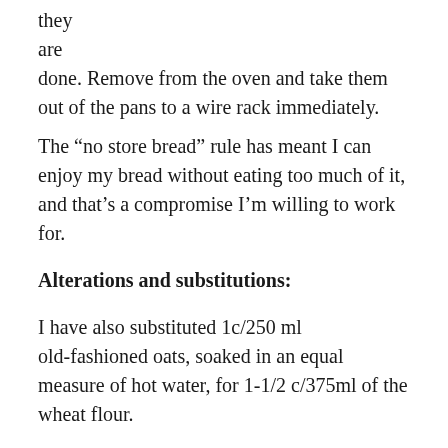they
are
done. Remove from the oven and take them out of the pans to a wire rack immediately.
The “no store bread” rule has meant I can enjoy my bread without eating too much of it, and that’s a compromise I’m willing to work for.
Alterations and substitutions:
I have also substituted 1c/250 ml old-fashioned oats, soaked in an equal measure of hot water, for 1-1/2 c/375ml of the wheat flour.